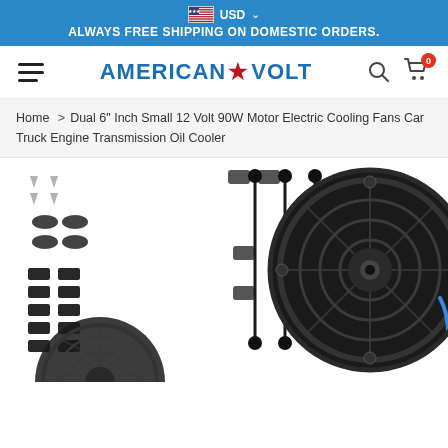USD — ALWAYS FREE SHIPPING ON DOMESTIC ORDERS.
[Figure (logo): American Volt logo with hamburger menu, search icon, and cart icon showing 0 items]
Home > Dual 6" Inch Small 12 Volt 90W Motor Electric Cooling Fans Car Truck Engine Transmission Oil Cooler
[Figure (photo): Product photo showing dual 6 inch electric cooling fans with mounting hardware, zip ties, and brackets on white background]